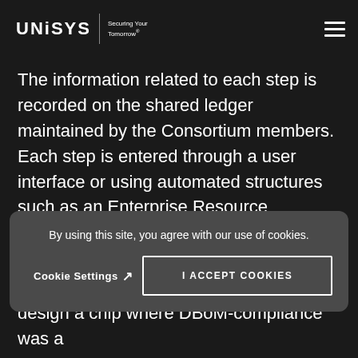UNISYS | Securing Your Tomorrow®
The information related to each step is recorded on the shared ledger maintained by the Consortium members. Each step is entered through a user interface or using automated structures such as an Enterprise Resource Planning (ERP), JIRA, Logistic Management System (LMS) or any other plugins to external applications and tools. The format of any data
By using this site, you agree with our use of cookies.
Cookie Settings ↗
I ACCEPT COOKIES
design a chip where DBoM-compliance was a